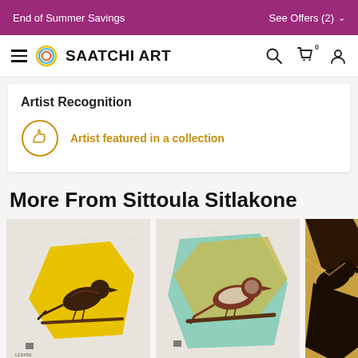End of Summer Savings   See Offers (2)
[Figure (logo): Saatchi Art navigation bar with hamburger menu, circular logo, brand name SAATCHI ART, search icon, cart icon with 0, and user profile icon]
Artist Recognition
Artist featured in a collection
More From Sittoula Sitlakone
[Figure (photo): Artwork showing a brown bird on a branch against a yellow geometric hexagonal background on white paper, printmaking style]
[Figure (photo): Artwork showing a brown bird on a branch against a teal/mint green and yellow geometric background on white paper, printmaking style]
[Figure (photo): Partial artwork showing dark black and golden tones with a bird silhouette, printmaking style, partially cropped]